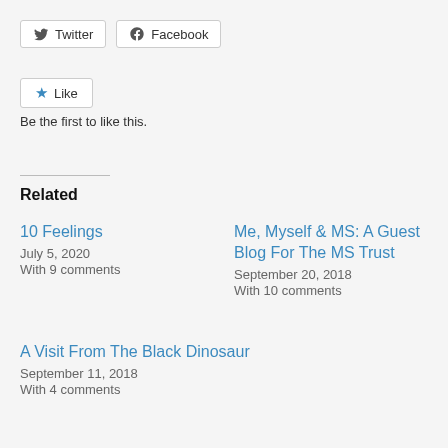Twitter  Facebook
Like
Be the first to like this.
Related
10 Feelings
July 5, 2020
With 9 comments
Me, Myself & MS: A Guest Blog For The MS Trust
September 20, 2018
With 10 comments
A Visit From The Black Dinosaur
September 11, 2018
With 4 comments